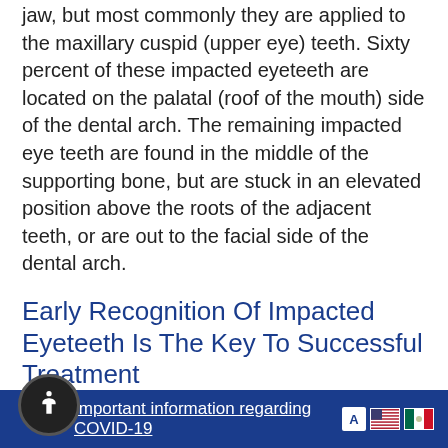jaw, but most commonly they are applied to the maxillary cuspid (upper eye) teeth. Sixty percent of these impacted eyeteeth are located on the palatal (roof of the mouth) side of the dental arch. The remaining impacted eye teeth are found in the middle of the supporting bone, but are stuck in an elevated position above the roots of the adjacent teeth, or are out to the facial side of the dental arch.
Early Recognition Of Impacted Eyeteeth Is The Key To Successful Treatment
Important information regarding COVID-19